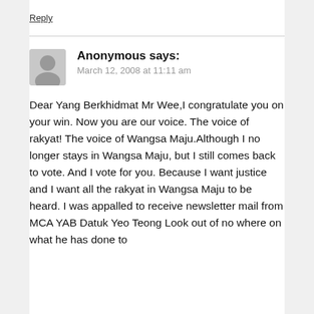Reply
Anonymous says:
March 12, 2008 at 11:11 am
Dear Yang Berkhidmat Mr Wee,I congratulate you on your win. Now you are our voice. The voice of rakyat! The voice of Wangsa Maju.Although I no longer stays in Wangsa Maju, but I still comes back to vote. And I vote for you. Because I want justice and I want all the rakyat in Wangsa Maju to be heard. I was appalled to receive newsletter mail from MCA YAB Datuk Yeo Teong Look out of no where on what he has done to